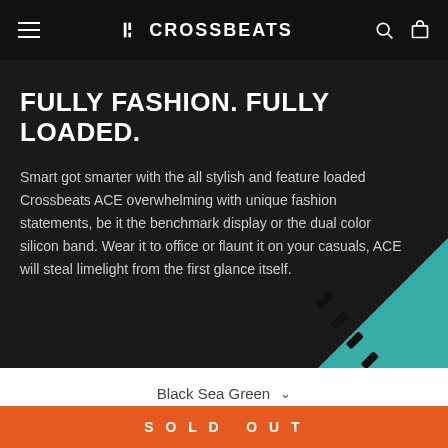CROSSBEATS
FULLY FASHION. FULLY LOADED.
Smart got smarter with the all stylish and feature loaded Crossbeats ACE overwhelming with unique fashion statements, be it the benchmark display or the dual color silicon band. Wear it to office or flaunt it on your casuals, ACE will steal limelight from the first glance itself.
Black Sea Green
₹ 2,999   ₹ 9,999
SOLD OUT